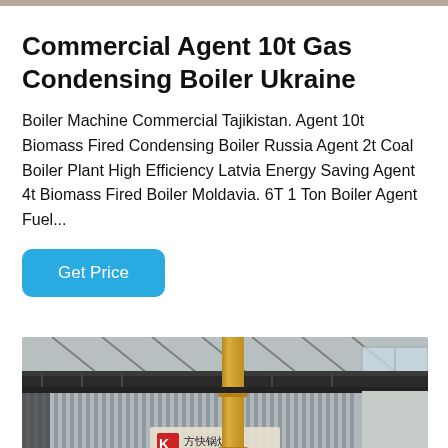Commercial Agent 10t Gas Condensing Boiler Ukraine
Boiler Machine Commercial Tajikistan. Agent 10t Biomass Fired Condensing Boiler Russia Agent 2t Coal Boiler Plant High Efficiency Latvia Energy Saving Agent 4t Biomass Fired Boiler Moldavia. 6T 1 Ton Boiler Agent Fuel…
[Figure (photo): Industrial gas condensing boiler unit in a factory setting. The boiler has corrugated metallic silver paneling with a yellow vertical pipe and overhead black ductwork. A red logo sign with Chinese characters is visible on the front panel.]